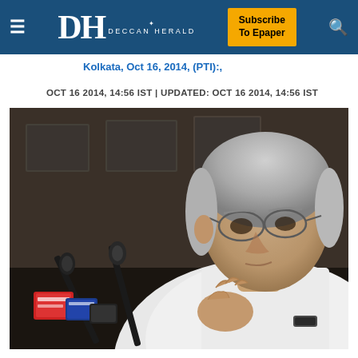Deccan Herald — Subscribe To Epaper
Kolkata, Oct 16, 2014, (PTI):,
OCT 16 2014, 14:56 IST | UPDATED: OCT 16 2014, 14:56 IST
[Figure (photo): A grey-haired man in a white shirt speaking at a press conference with multiple microphones in front of him, photographed from a side angle. Background shows framed pictures on the wall.]